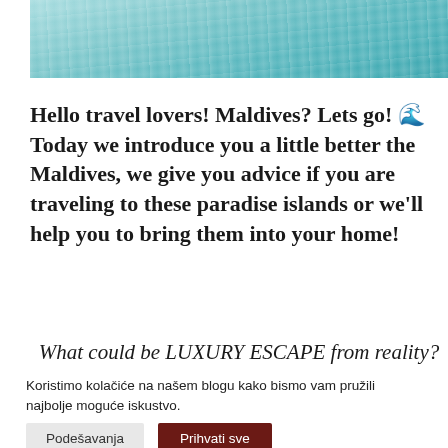[Figure (photo): Aerial or close-up view of turquoise tropical ocean water, Maldives style]
Hello travel lovers! Maldives? Lets go! 🌊 Today we introduce you a little better the Maldives, we give you advice if you are traveling to these paradise islands or we'll help you to bring them into your home!
What could be LUXURY ESCAPE from reality?
Koristimo kolačiće na našem blogu kako bismo vam pružili najbolje moguće iskustvo.
Podešavanja
Prihvati sve